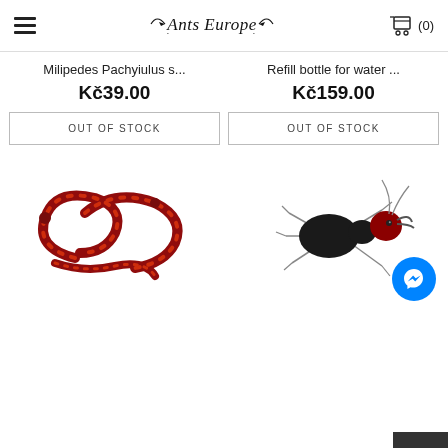Ants Europe
Milipedes Pachyiulus s...
KČ39.00
OUT OF STOCK
Refill bottle for water ...
KČ159.00
OUT OF STOCK
[Figure (photo): Red millipedes coiled together on white background]
[Figure (photo): Black and red ant on white background, side view]